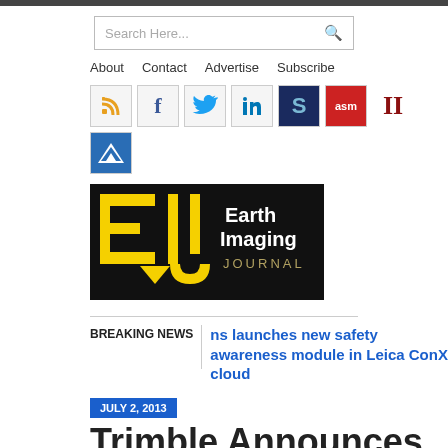Search Here...
About  Contact  Advertise  Subscribe
[Figure (screenshot): Social media and partner icons: RSS, Facebook, Twitter, LinkedIn, Spatial Source, ASM, II, and a mountain/arrow logo]
[Figure (logo): Earth Imaging Journal logo — black background with yellow EIJ letterform and white/silver text reading 'Earth Imaging JOURNAL']
BREAKING NEWS
ns launches new safety awareness module in Leica ConX cloud
JULY 2, 2013
Trimble Announces